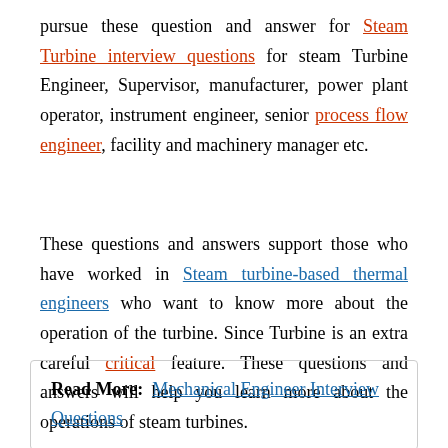pursue these question and answer for Steam Turbine interview questions for steam Turbine Engineer, Supervisor, manufacturer, power plant operator, instrument engineer, senior process flow engineer, facility and machinery manager etc.
These questions and answers support those who have worked in Steam turbine-based thermal engineers who want to know more about the operation of the turbine. Since Turbine is an extra careful critical feature. These questions and answers will help you learn more about the operations of steam turbines.
Read More: Mechanical Engineer Interview Questions